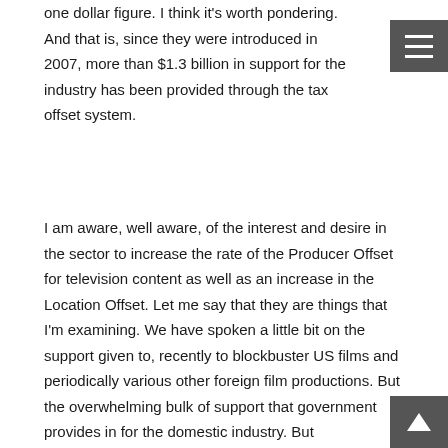one dollar figure. I think it's worth pondering. And that is, since they were introduced in 2007, more than $1.3 billion in support for the industry has been provided through the tax offset system.
I am aware, well aware, of the interest and desire in the sector to increase the rate of the Producer Offset for television content as well as an increase in the Location Offset. Let me say that they are things that I'm examining. We have spoken a little bit on the support given to, recently to blockbuster US films and periodically various other foreign film productions. But the overwhelming bulk of support that government provides in for the domestic industry. But nevertheless, I am well aware of your desire to have some change and that is something that I am examining.